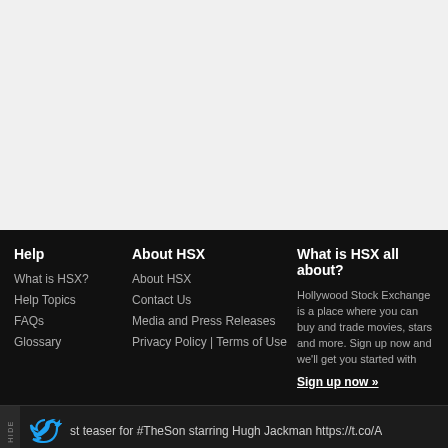[Figure (screenshot): Top white/grey area of a web page (content area, mostly blank/white)]
Help
What is HSX?
Help Topics
FAQs
Glossary
About HSX
About HSX
Contact Us
Media and Press Releases
Privacy Policy | Terms of Use
What is HSX all about?
Hollywood Stock Exchange is a place where you can buy and trade movies, stars and more. Sign up now and we'll get you started with H$2,000,000.
st teaser for #TheSon starring Hugh Jackman https://t.co/A
geddon Time (ARMGT) 1000 11.91 (-0.03)  Hugh Jackma